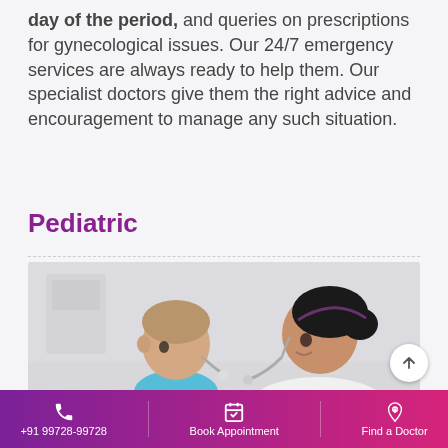day of the period, and queries on prescriptions for gynecological issues. Our 24/7 emergency services are always ready to help them. Our specialist doctors give them the right advice and encouragement to manage any such situation.
Pediatric
[Figure (photo): A female doctor examining a young toddler boy with a stethoscope in a clinical setting. The child is wearing a blue shirt and the doctor has dark hair in a bun.]
+91 99728-99728  Book Appointment  Find a Doctor